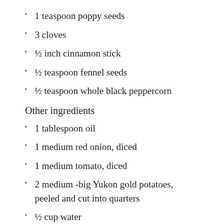1 teaspoon poppy seeds
3 cloves
½ inch cinnamon stick
½ teaspoon fennel seeds
½ teaspoon whole black peppercorn
Other ingredients
1 tablespoon oil
1 medium red onion, diced
1 medium tomato, diced
2 medium -big Yukon gold potatoes, peeled and cut into quarters
½ cup water
1 tablespoon dry tamarind soaked in ½